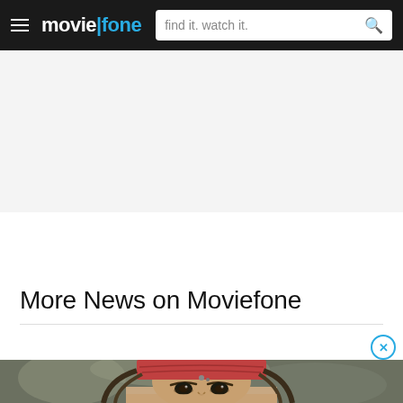moviefone — find it. watch it.
[Figure (other): Gray advertisement placeholder banner]
More News on Moviefone
[Figure (photo): Close-up photo of a person dressed as a pirate (Jack Sparrow style) with a red bandana headband and braided hair with beads, blurred outdoor background]